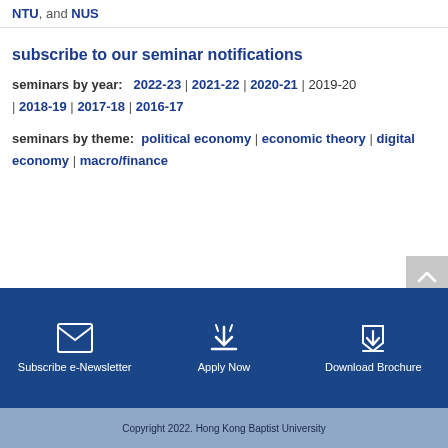NTU, and NUS
subscribe to our seminar notifications
seminars by year: 2022-23 | 2021-22 | 2020-21 | 2019-20 | 2018-19 | 2017-18 | 2016-17
seminars by theme: political economy | economic theory | digital economy | macro/finance
Subscribe e-Newsletter | Apply Now | Download Brochure
Copyright 2022. Hong Kong Baptist University